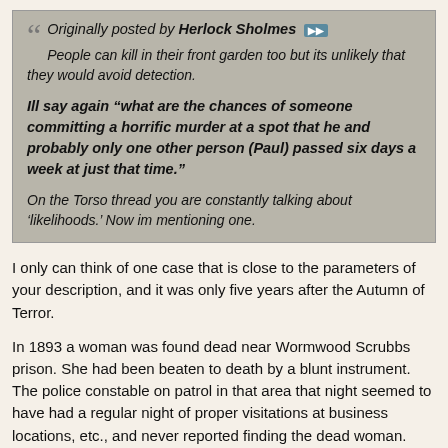Originally posted by Herlock Sholmes [icon] People can kill in their front garden too but its unlikely that they would avoid detection. Ill say again "what are the chances of someone committing a horrific murder at a spot that he and probably only one other person (Paul) passed six days a week at just that time." On the Torso thread you are constantly talking about 'likelihoods.' Now im mentioning one.
I only can think of one case that is close to the parameters of your description, and it was only five years after the Autumn of Terror.
In 1893 a woman was found dead near Wormwood Scrubbs prison. She had been beaten to death by a blunt instrument. The police constable on patrol in that area that night seemed to have had a regular night of proper visitations at business locations, etc., and never reported finding the dead woman. However, when the body was examined by other police constables and the local police surgeon, it was recognized to be a woman who had been giving a great deal of grief to the constable who had not reported the dead woman's body. The Constable, one George Cooke, had been a very good officer, but he fell in love with a prostitute, and tried to reform her . It didn't work, and she felt he had to support her. When he refused unless she reformed she became a personal threat to him, and at one point forced him to have to transfer from a more populated London district to the